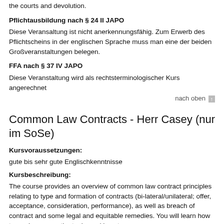the courts and devolution.
Pflichtausbildung nach § 24 II JAPO
Diese Veransaltung ist nicht anerkennungsfähig. Zum Erwerb des Pflichtscheins in der englischen Sprache muss man eine der beiden Großveranstaltungen belegen.
FFA nach § 37 IV JAPO
Diese Veranstaltung wird als rechtsterminologischer Kurs angerechnet
nach oben
Common Law Contracts - Herr Casey (nur im SoSe)
Kursvoraussetzungen:
gute bis sehr gute Englischkenntnisse
Kursbeschreibung:
The course provides an overview of common law contract principles relating to type and formation of contracts (bi-lateral/unilateral; offer, acceptance, consideration, performance), as well as breach of contract and some legal and equitable remedies. You will learn how to read cases on the topic, and how to